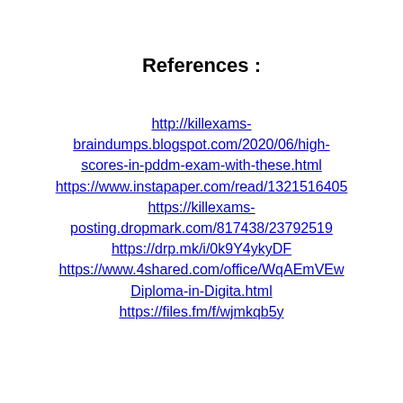References :
http://killexams-braindumps.blogspot.com/2020/06/high-scores-in-pddm-exam-with-these.html https://www.instapaper.com/read/1321516405 https://killexams-posting.dropmark.com/817438/23792519 https://drp.mk/i/0k9Y4ykyDF https://www.4shared.com/office/WqAEmVEw Diploma-in-Digita.html https://files.fm/f/wjmkqb5y